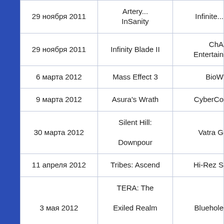| Дата | Название | Разработчик |
| --- | --- | --- |
| 29 ноября 2011 | Infinity Blade II | ChA... Entertain... |
| 6 марта 2012 | Mass Effect 3 | BioW... |
| 9 марта 2012 | Asura's Wrath | CyberCo... |
| 30 марта 2012 | Silent Hill: Downpour | Vatra G... |
| 11 апреля 2012 | Tribes: Ascend | Hi-Rez S... |
| 3 мая 2012 | TERA: The Exiled Realm of Arborea | Bluehole... |